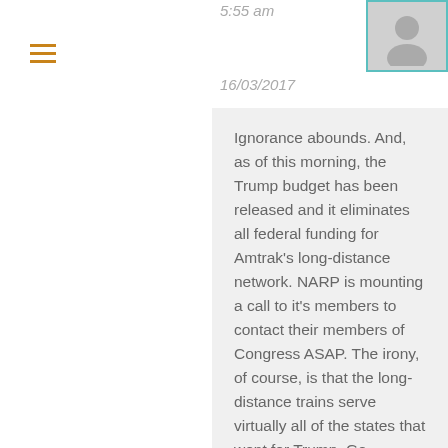[Figure (other): Hamburger menu icon with three horizontal orange lines]
5:55 am
[Figure (other): User avatar placeholder image with teal/cyan border]
16/03/2017
Ignorance abounds. And, as of this morning, the Trump budget has been released and it eliminates all federal funding for Amtrak's long-distance network. NARP is mounting a call to it's members to contact their members of Congress ASAP. The irony, of course, is that the long-distance trains serve virtually all of the states that went for Trump. Go